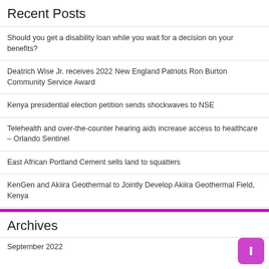Recent Posts
Should you get a disability loan while you wait for a decision on your benefits?
Deatrich Wise Jr. receives 2022 New England Patriots Ron Burton Community Service Award
Kenya presidential election petition sends shockwaves to NSE
Telehealth and over-the-counter hearing aids increase access to healthcare – Orlando Sentinel
East African Portland Cement sells land to squatters
KenGen and Akiira Geothermal to Jointly Develop Akiira Geothermal Field, Kenya
Archives
September 2022